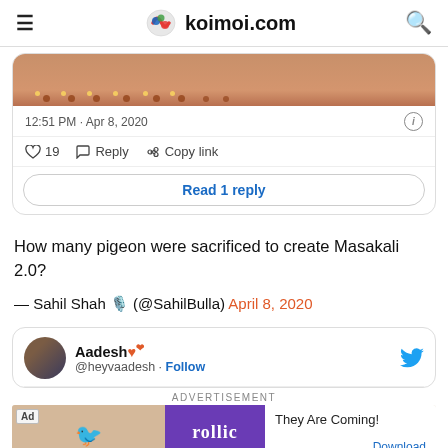koimoi.com
[Figure (screenshot): Partial Twitter/X tweet card showing bottom of an image with candles, timestamp 12:51 PM · Apr 8, 2020, action buttons (like 19, Reply, Copy link), and Read 1 reply button]
How many pigeon were sacrificed to create Masakali 2.0?
— Sahil Shah 🎙️ (@SahilBulla) April 8, 2020
[Figure (screenshot): Twitter/X profile card for Aadesh with heart emoji, handle @heyvaadesh, Follow button, Twitter bird icon]
ADVERTISEMENT
[Figure (screenshot): Ad banner for Rollic game app: 'They Are Coming!' with Download link]